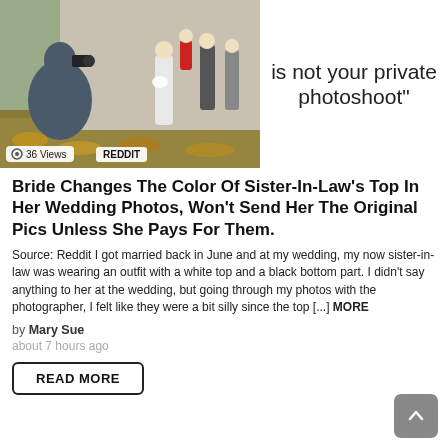[Figure (photo): Wedding photographer crouching and taking photos of wedding party in outdoor setting with autumn leaves on ground. On the right side, large text reads 'My wedding is not your private photoshoot"'. Overlaid badges show '36 Views' and 'REDDIT'.]
Bride Changes The Color Of Sister-In-Law's Top In Her Wedding Photos, Won't Send Her The Original Pics Unless She Pays For Them.
Source: Reddit I got married back in June and at my wedding, my now sister-in-law was wearing an outfit with a white top and a black bottom part. I didn't say anything to her at the wedding, but going through my photos with the photographer, I felt like they were a bit silly since the top [...] MORE
by Mary Sue
about 7 hours ago
READ MORE